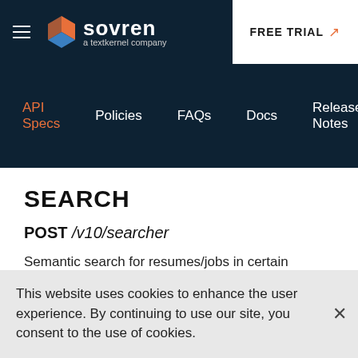[Figure (logo): Sovren logo with hamburger menu and FREE TRIAL button in top navigation bar]
API Specs  Policies  FAQs  Docs  Release Notes
SEARCH
POST /v10/searcher
Semantic search for resumes/jobs in certain indexes.
This website uses cookies to enhance the user experience. By continuing to use our site, you consent to the use of cookies.